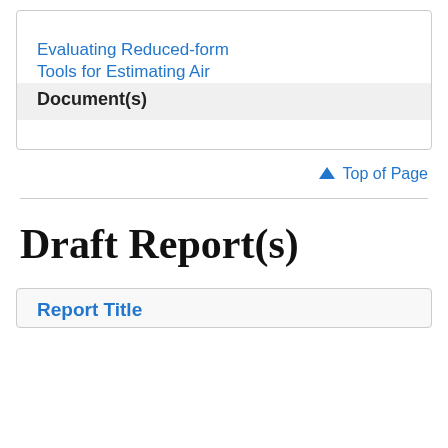Evaluating Reduced-form Tools for Estimating Air
Document(s)
Top of Page
Draft Report(s)
Report Title